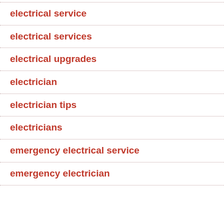electrical service
electrical services
electrical upgrades
electrician
electrician tips
electricians
emergency electrical service
emergency electrician